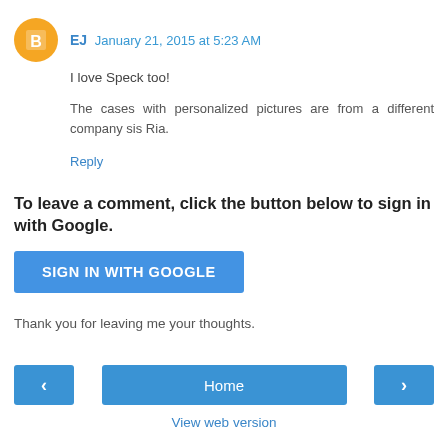EJ January 21, 2015 at 5:23 AM
I love Speck too!
The cases with personalized pictures are from a different company sis Ria.
Reply
To leave a comment, click the button below to sign in with Google.
SIGN IN WITH GOOGLE
Thank you for leaving me your thoughts.
< Home > View web version